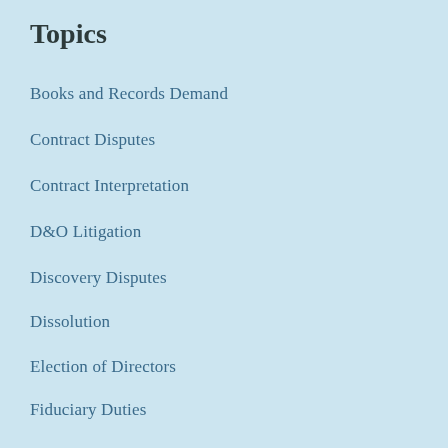Topics
Books and Records Demand
Contract Disputes
Contract Interpretation
D&O Litigation
Discovery Disputes
Dissolution
Election of Directors
Fiduciary Duties
Indemnification and Advancement
Injunctive Relief
News